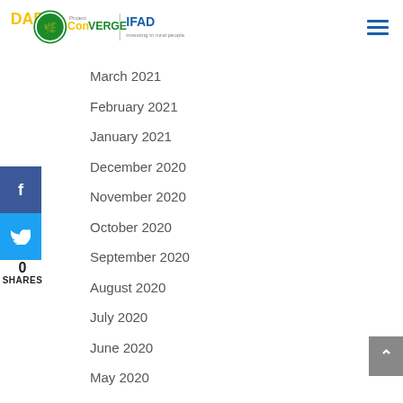[Figure (logo): DAR ConVERGE Project and IFAD logos - DAR logo with green circular emblem and yellow text, ConVERGE project text, IFAD logo with tagline 'investing in rural people']
March 2021
February 2021
January 2021
December 2020
November 2020
October 2020
September 2020
August 2020
July 2020
June 2020
May 2020
April 2020